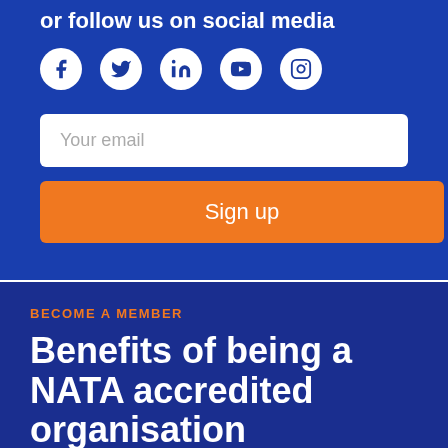or follow us on social media
[Figure (illustration): Social media icons: Facebook, Twitter, LinkedIn, YouTube, Instagram — white icons on circular white backgrounds over blue background]
Your email
Sign up
BECOME A MEMBER
Benefits of being a NATA accredited organisation